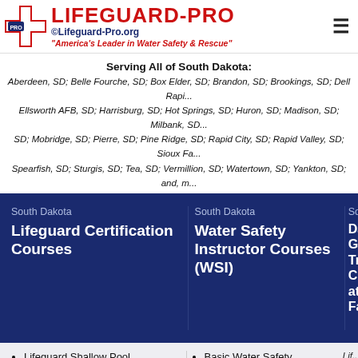[Figure (logo): Lifeguard-Pro logo with red cross icon, red bold title 'Lifeguard-Pro', blue URL '©Lifeguard-Pro.org', and red italic tagline 'America's Leader in Water Safety & Rescue']
Serving All of South Dakota: Aberdeen, SD; Belle Fourche, SD; Box Elder, SD; Brandon, SD; Brookings, SD; Dell Rapids, SD; Ellsworth AFB, SD; Harrisburg, SD; Hot Springs, SD; Huron, SD; Madison, SD; Milbank, SD; Mobridge, SD; Pierre, SD; Pine Ridge, SD; Rapid City, SD; Rapid Valley, SD; Sioux Falls, SD; Spearfish, SD; Sturgis, SD; Tea, SD; Vermillion, SD; Watertown, SD; Yankton, SD; and, more
South Dakota Lifeguard Certification Courses
South Dakota Water Safety Instructor Courses (WSI)
Lifeguard Shallow Pool
Lifeguard Swimming Pool
Lifeguard Deep Pool
Lifeguard Waterfront
Basic Water Safety
Water Safety Instructor (WSI)
Water Safety Instructor Recertification/Renewal